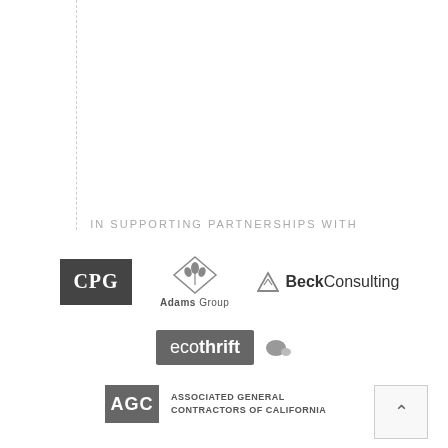IN SUPPORTING PARTNERSHIPS WITH
[Figure (logo): CPG logo - white text on dark grey square background]
[Figure (logo): Adams Group logo - wheat/grain diamond icon above text Adams Group]
[Figure (logo): Beck Consulting logo - triangle icon with BeckConsulting text]
[Figure (logo): ecothrift logo - grey rounded rectangle with eco in light weight and thrift in bold, with leaf/dots icon]
[Figure (logo): AGC - Associated General Contractors of California logo]
[Figure (other): Scroll up button with caret/arrow icon]